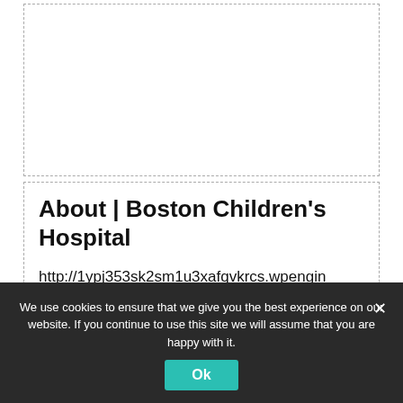[Figure (screenshot): Empty dashed-border box representing a screenshot or image placeholder area at the top of the page]
About | Boston Children's Hospital
http://1ypj353sk2sm1u3xafqvkrcs.wpengin
We use cookies to ensure that we give you the best experience on our website. If you continue to use this site we will assume that you are happy with it.
Ok